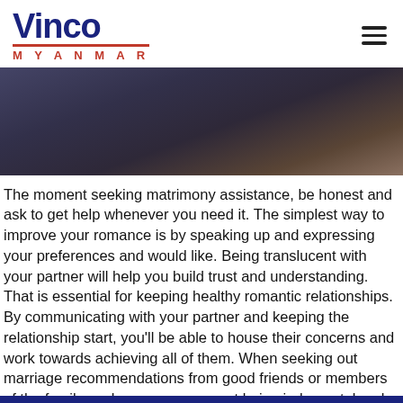Vinco MYANMAR
[Figure (photo): Close-up photo of a person wearing a dark hat and navy clothing, partially visible at the top of the page.]
The moment seeking matrimony assistance, be honest and ask to get help whenever you need it. The simplest way to improve your romance is by speaking up and expressing your preferences and would like. Being translucent with your partner will help you build trust and understanding. That is essential for keeping healthy romantic relationships. By communicating with your partner and keeping the relationship start, you’ll be able to house their concerns and work towards achieving all of them. When seeking out marriage recommendations from good friends or members of the family, make sure you are not being judgmental and provide genuine help and advice.